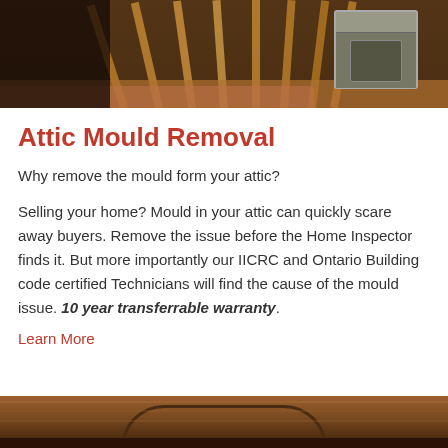[Figure (photo): Photo of attic interior showing wooden rafters/trusses with pink insulation on the floor and equipment visible in the upper right]
Attic Mould Removal
Why remove the mould form your attic?
Selling your home? Mould in your attic can quickly scare away buyers. Remove the issue before the Home Inspector finds it. But more importantly our IICRC and Ontario Building code certified Technicians will find the cause of the mould issue. 10 year transferrable warranty.
Learn More
[Figure (photo): Photo of attic interior showing curved wooden arch structure]